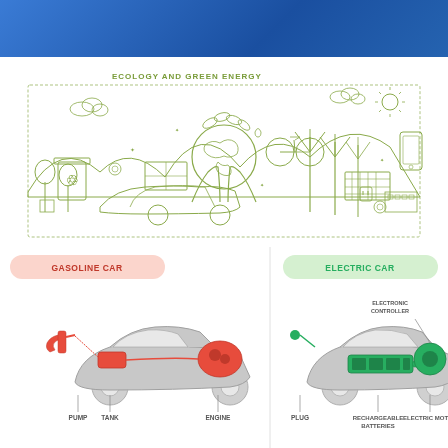[Figure (illustration): Blue gradient header banner at top of page]
[Figure (infographic): Ecology and Green Energy line-art illustration showing globe held by hands, wind turbines, solar panels, electric car, bicycle, recycling bin, and various green energy icons with title 'ECOLOGY AND GREEN ENERGY']
[Figure (infographic): Comparison diagram of Gasoline Car vs Electric Car. Left panel labeled 'GASOLINE CAR' (pink/red) shows a car with PUMP, TANK, and ENGINE labeled. Right panel labeled 'ELECTRIC CAR' (green) shows a car with PLUG, RECHARGEABLE BATTERIES, ELECTRONIC CONTROLLER, and ELECTRIC MOTOR labeled.]
[Figure (photo): Bottom left thumbnail: dark/black background image]
[Figure (illustration): Bottom right thumbnail: teal/turquoise background with cloud and cactus shapes]